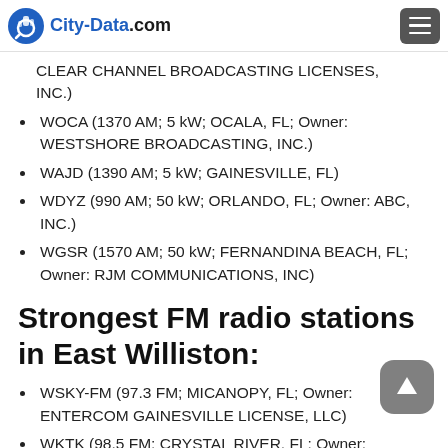City-Data.com
CLEAR CHANNEL BROADCASTING LICENSES, INC.)
WOCA (1370 AM; 5 kW; OCALA, FL; Owner: WESTSHORE BROADCASTING, INC.)
WAJD (1390 AM; 5 kW; GAINESVILLE, FL)
WDYZ (990 AM; 50 kW; ORLANDO, FL; Owner: ABC, INC.)
WGSR (1570 AM; 50 kW; FERNANDINA BEACH, FL; Owner: RJM COMMUNICATIONS, INC)
Strongest FM radio stations in East Williston:
WSKY-FM (97.3 FM; MICANOPY, FL; Owner: ENTERCOM GAINESVILLE LICENSE, LLC)
WKTK (98.5 FM; CRYSTAL RIVER, FL; Owner: ENTERCOM GAINESVILLE LICENSE, LLC)
WTMG (101.3 FM; WILLISTON, FL; Owner: 6